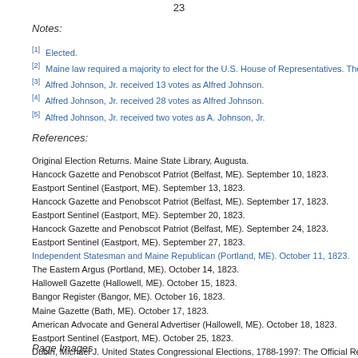23
Notes:
[1] Elected.
[2] Maine law required a majority to elect for the U.S. House of Representatives. The
[3] Alfred Johnson, Jr. received 13 votes as Alfred Johnson.
[4] Alfred Johnson, Jr. received 28 votes as Alfred Johnson.
[5] Alfred Johnson, Jr. received two votes as A. Johnson, Jr.
References:
Original Election Returns. Maine State Library, Augusta.
Hancock Gazette and Penobscot Patriot (Belfast, ME). September 10, 1823.
Eastport Sentinel (Eastport, ME). September 13, 1823.
Hancock Gazette and Penobscot Patriot (Belfast, ME). September 17, 1823.
Eastport Sentinel (Eastport, ME). September 20, 1823.
Hancock Gazette and Penobscot Patriot (Belfast, ME). September 24, 1823.
Eastport Sentinel (Eastport, ME). September 27, 1823.
Independent Statesman and Maine Republican (Portland, ME). October 11, 1823.
The Eastern Argus (Portland, ME). October 14, 1823.
Hallowell Gazette (Hallowell, ME). October 15, 1823.
Bangor Register (Bangor, ME). October 16, 1823.
Maine Gazette (Bath, ME). October 17, 1823.
American Advocate and General Advertiser (Hallowell, ME). October 18, 1823.
Eastport Sentinel (Eastport, ME). October 25, 1823.
Dubin, Michael J. United States Congressional Elections, 1788-1997: The Official Re
Page Images